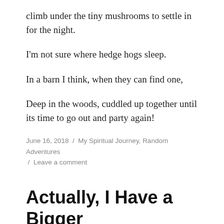climb under the tiny mushrooms to settle in for the night.
I'm not sure where hedge hogs sleep.
In a barn I think, when they can find one,
Deep in the woods, cuddled up together until its time to go out and party again!
June 16, 2018 / My Spiritual Journey, Random Adventures / Leave a comment
Actually, I Have a Bigger Purpose....